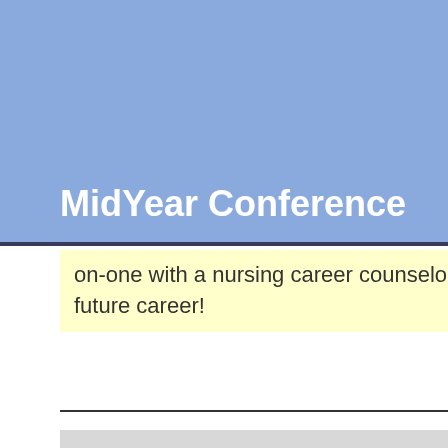MidYear Conference
on-one with a nursing career counselor to plan your future career!
Poster Presentation Project Showcase